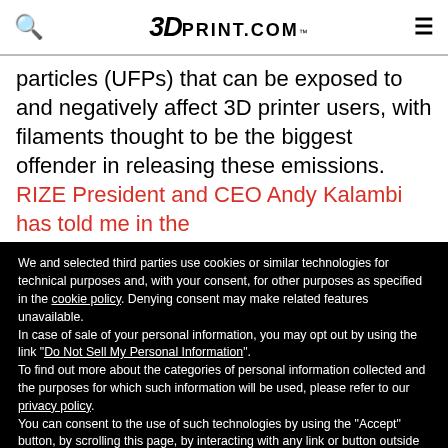3DPRINT.COM™
particles (UFPs) that can be exposed to and negatively affect 3D printer users, with filaments thought to be the biggest offender in releasing these emissions. RIZE President and CEO Andy Kalambi has told me in the
We and selected third parties use cookies or similar technologies for technical purposes and, with your consent, for other purposes as specified in the cookie policy. Denying consent may make related features unavailable.
In case of sale of your personal information, you may opt out by using the link "Do Not Sell My Personal Information".
To find out more about the categories of personal information collected and the purposes for which such information will be used, please refer to our privacy policy.
You can consent to the use of such technologies by using the "Accept" button, by scrolling this page, by interacting with any link or button outside of this notice or by continuing to browse otherwise.
Reject
Accept
Learn more and customize